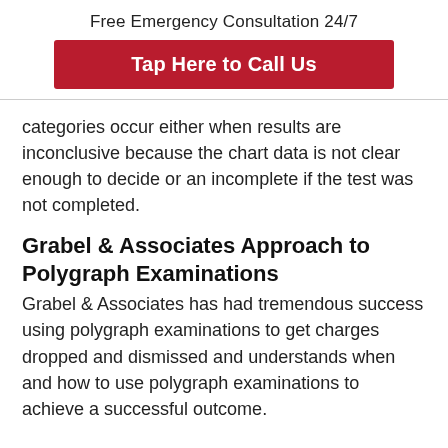Free Emergency Consultation 24/7
Tap Here to Call Us
categories occur either when results are inconclusive because the chart data is not clear enough to decide or an incomplete if the test was not completed.
Grabel & Associates Approach to Polygraph Examinations
Grabel & Associates has had tremendous success using polygraph examinations to get charges dropped and dismissed and understands when and how to use polygraph examinations to achieve a successful outcome.